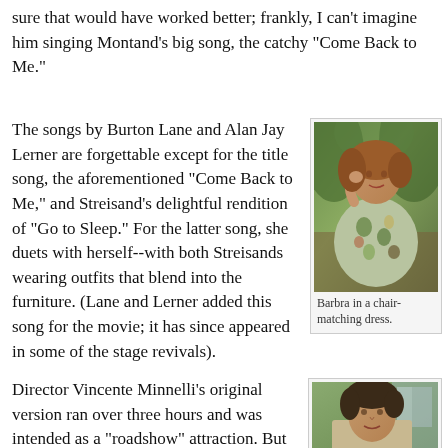sure that would have worked better; frankly, I can't imagine him singing Montand's big song, the catchy "Come Back to Me."
The songs by Burton Lane and Alan Jay Lerner are forgettable except for the title song, the aforementioned "Come Back to Me," and Streisand's delightful rendition of "Go to Sleep." For the latter song, she duets with herself--with both Streisands wearing outfits that blend into the furniture. (Lane and Lerner added this song for the movie; it has since appeared in some of the stage revivals).
[Figure (photo): Barbra Streisand in a floral dress reclining in a chair-matching setting]
Barbra in a chair-matching dress.
Director Vincente Minnelli's original version ran over three hours and was intended as a "roadshow" attraction. But with
[Figure (photo): A man with dark hair photographed outdoors]